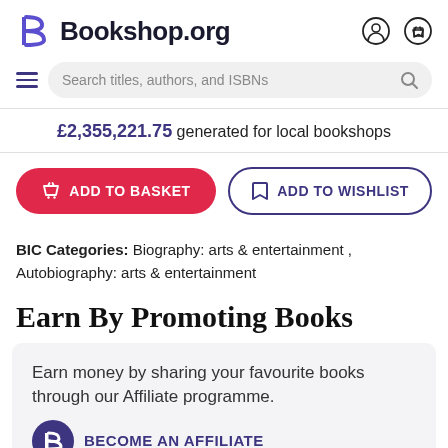Bookshop.org
Search titles, authors, and ISBNs
£2,355,221.75 generated for local bookshops
ADD TO BASKET | ADD TO WISHLIST
BIC Categories: Biography: arts & entertainment , Autobiography: arts & entertainment
Earn By Promoting Books
Earn money by sharing your favourite books through our Affiliate programme.
BECOME AN AFFILIATE